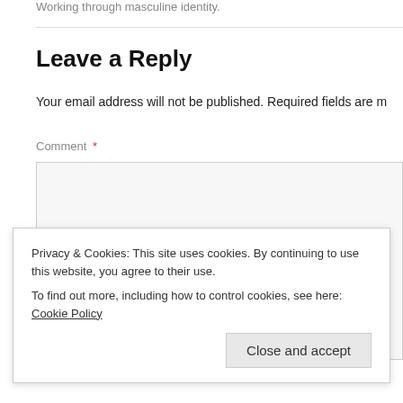Working through masculine identity.
Leave a Reply
Your email address will not be published. Required fields are m
Comment *
Privacy & Cookies: This site uses cookies. By continuing to use this website, you agree to their use.
To find out more, including how to control cookies, see here: Cookie Policy
Close and accept